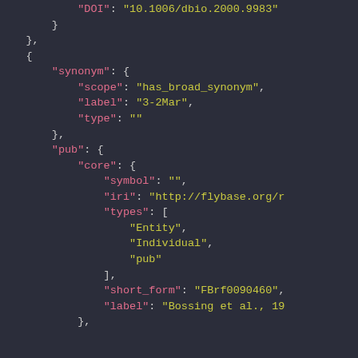JSON code snippet showing synonym and pub fields with nested objects